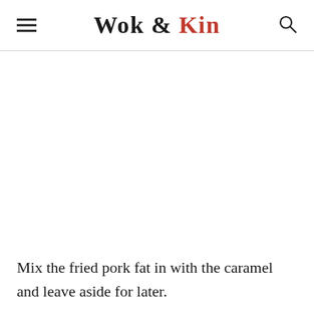Wok & Kin
[Figure (photo): Large image area (white/blank image placeholder) below the site header]
Mix the fried pork fat in with the caramel and leave aside for later.